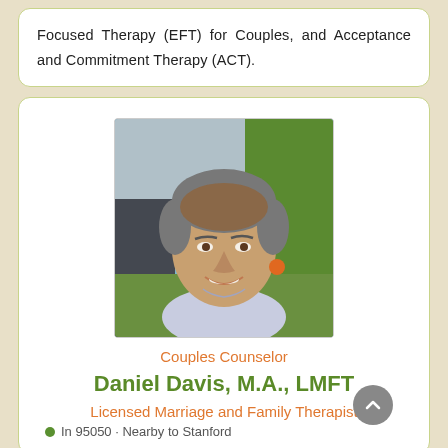Focused Therapy (EFT) for Couples, and Acceptance and Commitment Therapy (ACT).
[Figure (photo): Headshot photo of Daniel Davis, a middle-aged man with salt-and-pepper hair, smiling, outdoors with greenery in background]
Couples Counselor
Daniel Davis, M.A., LMFT
Licensed Marriage and Family Therapist
In 95050 · Nearby to Stanford